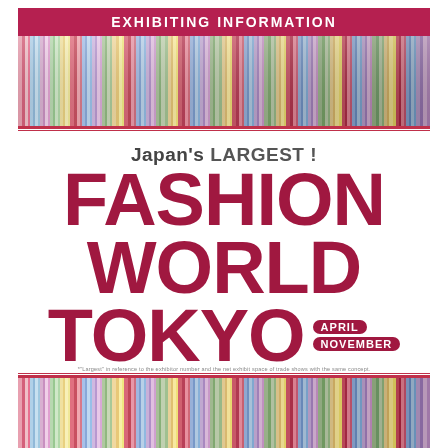EXHIBITING INFORMATION
[Figure (illustration): Colorful vertical multicolor stripes pattern banner at top]
Japan's LARGEST! FASHION WORLD TOKYO APRIL NOVEMBER
*"Largest" in reference to the exhibitor number and the net exhibit space of trade shows with the same concept.
[Figure (illustration): Colorful vertical multicolor stripes pattern banner at bottom]